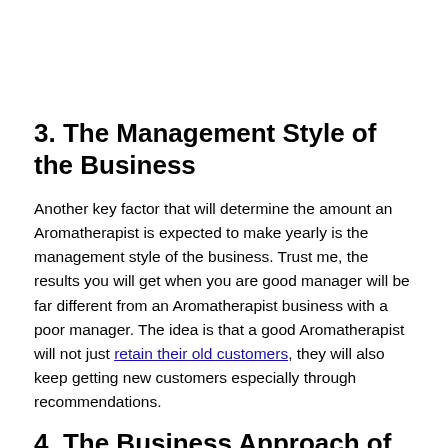3. The Management Style of the Business
Another key factor that will determine the amount an Aromatherapist is expected to make yearly is the management style of the business. Trust me, the results you will get when you are good manager will be far different from an Aromatherapist business with a poor manager. The idea is that a good Aromatherapist will not just retain their old customers, they will also keep getting new customers especially through recommendations.
4. The Business Approach of the Aromatherapist Business
There are different business approaches that an